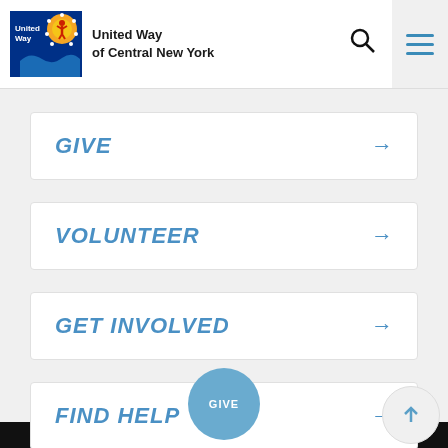[Figure (logo): United Way of Central New York logo with organization name]
GIVE →
VOLUNTEER →
GET INVOLVED →
FIND HELP →